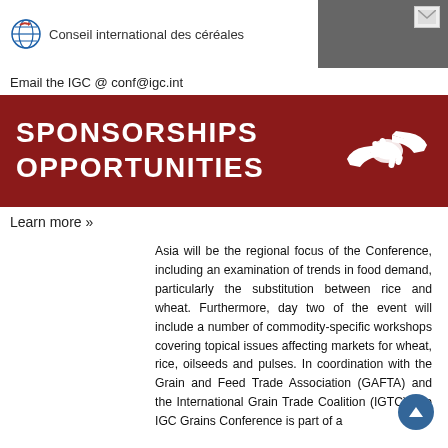Conseil international des céréales
Email the IGC @ conf@igc.int
[Figure (infographic): Red banner with white bold text reading SPONSORSHIPS OPPORTUNITIES and a white handshake icon on the right side]
Learn more »
Asia will be the regional focus of the Conference, including an examination of trends in food demand, particularly the substitution between rice and wheat. Furthermore, day two of the event will include a number of commodity-specific workshops covering topical issues affecting markets for wheat, rice, oilseeds and pulses. In coordination with the Grain and Feed Trade Association (GAFTA) and the International Grain Trade Coalition (IGTC), the IGC Grains Conference is part of a